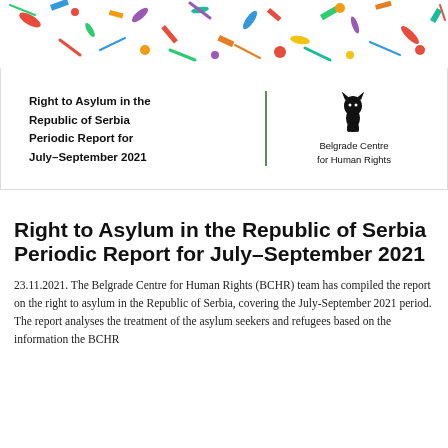[Figure (illustration): Colorful abstract mosaic pattern used as a decorative banner image at the top of the page]
Right to Asylum in the Republic of Serbia Periodic Report for July–September 2021
[Figure (logo): Belgrade Centre for Human Rights logo: a black silhouette of a cat sitting, with text 'Belgrade Centre for Human Rights' below]
Right to Asylum in the Republic of Serbia Periodic Report for July–September 2021
23.11.2021. The Belgrade Centre for Human Rights (BCHR) team has compiled the report on the right to asylum in the Republic of Serbia, covering the July-September 2021 period. The report analyses the treatment of the asylum seekers and refugees based on the information the BCHR